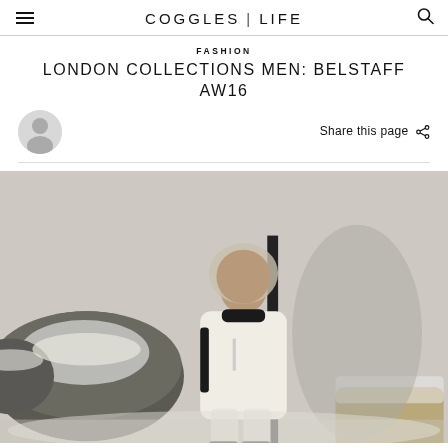COGGLES | LIFE
FASHION
LONDON COLLECTIONS MEN: BELSTAFF AW16
Share this page
[Figure (photo): A male model wearing a light-coloured heavy winter puffer jacket with fur-trimmed hood, white trousers, and dark boots, standing next to a dark pole among snow-dusted rocks against a light wall with shadows.]